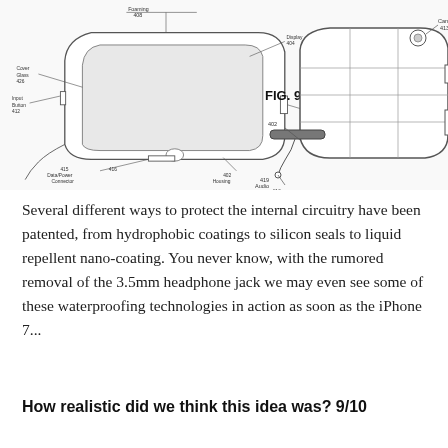[Figure (engineering-diagram): Patent engineering diagram showing two views of a smartphone device. Left view shows front perspective with labels: Foaming 408, Cover Glass 426, Display 404, Input Button 412, Multi-position Switch 403, Housing 402, Data/Power Connector 415, and 416. Right view labeled FIG. 9B shows back perspective with labels: Camera 413, Power Switch 411, 402, Volume Switch 412, Audio Jack 416, 418.]
Several different ways to protect the internal circuitry have been patented, from hydrophobic coatings to silicon seals to liquid repellent nano-coating. You never know, with the rumored removal of the 3.5mm headphone jack we may even see some of these waterproofing technologies in action as soon as the iPhone 7...
How realistic did we think this idea was? 9/10